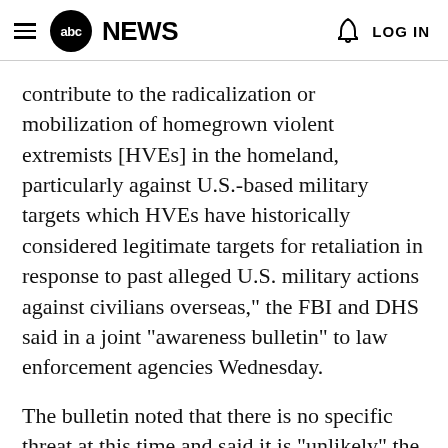abc NEWS  LOG IN
contribute to the radicalization or mobilization of homegrown violent extremists [HVEs] in the homeland, particularly against U.S.-based military targets which HVEs have historically considered legitimate targets for retaliation in response to past alleged U.S. military actions against civilians overseas," the FBI and DHS said in a joint "awareness bulletin" to law enforcement agencies Wednesday.
The bulletin noted that there is no specific threat at this time and said it is "unlikely" the